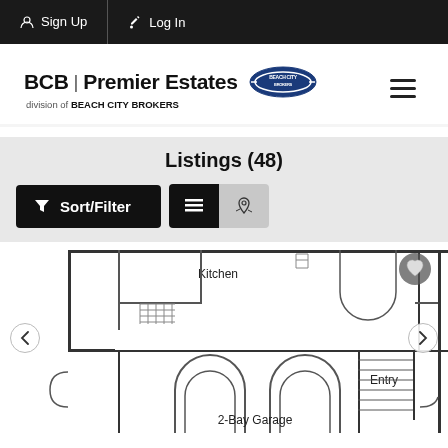Sign Up | Log In
[Figure (logo): BCB Premier Estates logo with Beach City Brokers emblem and hamburger menu]
Listings (48)
Sort/Filter button and list/map view toggle
[Figure (engineering-diagram): Floor plan showing Kitchen, 2-Bay Garage, Entry areas with architectural line drawing]